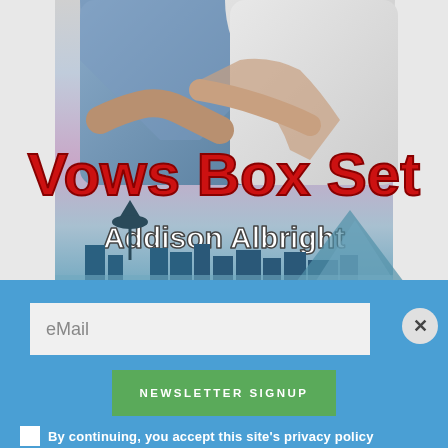[Figure (illustration): Book cover for 'Vows Box Set' by Addison Albright showing two people embracing with Seattle skyline below. Red bold title text 'Vows Box Set' and white author name 'Addison Albright'. Purple-pink-blue gradient sky background.]
eMail
NEWSLETTER SIGNUP
By continuing, you accept this site's privacy policy